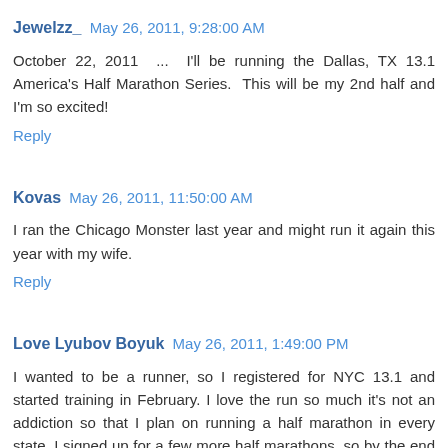Jewelzz_  May 26, 2011, 9:28:00 AM
October 22, 2011 ... I'll be running the Dallas, TX 13.1 America's Half Marathon Series.  This will be my 2nd half and I'm so excited!
Reply
Kovas  May 26, 2011, 11:50:00 AM
I ran the Chicago Monster last year and might run it again this year with my wife.
Reply
Love Lyubov Boyuk  May 26, 2011, 1:49:00 PM
I wanted to be a runner, so I registered for NYC 13.1 and started training in February. I love the run so much it's not an addiction so that I plan on running a half marathon in every state. I signed up for a few more half marathons, so by the end of summer I would have 8 half marathons and a